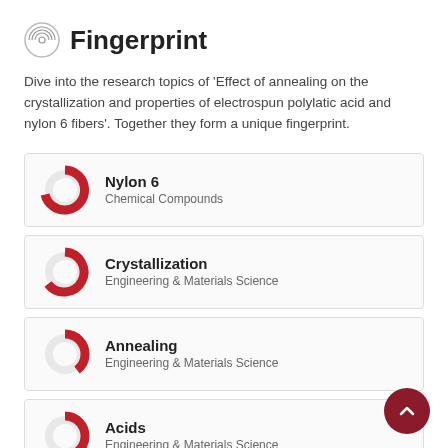Fingerprint
Dive into the research topics of 'Effect of annealing on the crystallization and properties of electrospun polylatic acid and nylon 6 fibers'. Together they form a unique fingerprint.
Nylon 6 — Chemical Compounds
Crystallization — Engineering & Materials Science
Annealing — Engineering & Materials Science
Acids — Engineering & Materials Science